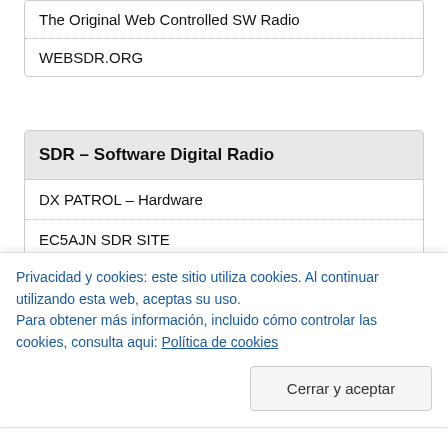The Original Web Controlled SW Radio
WEBSDR.ORG
SDR – Software Digital Radio
DX PATROL – Hardware
EC5AJN SDR SITE
GQRX (software)
Receptor SDR – Remote
RTL-SDR.COM
Privacidad y cookies: este sitio utiliza cookies. Al continuar utilizando esta web, aceptas su uso.
Para obtener más información, incluido cómo controlar las cookies, consulta aqui: Política de cookies
Cerrar y aceptar